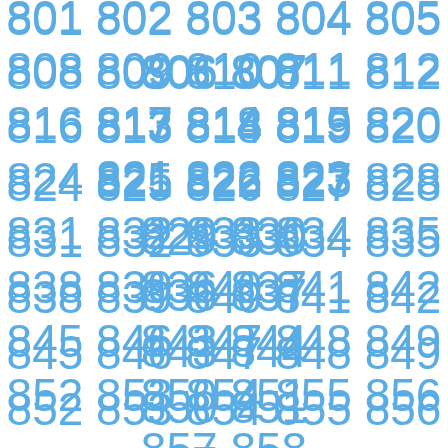801 802 803 804 805 806 807
808 809 810 811 812 813 814 815
816 817 818 819 820 821 822 823
824 825 826 827 828 829 830
831 832 833 834 835 836 837
838 839 840 841 842 843 844
845 846 847 848 849 850 851
852 853 854 855 856 857 858
859 860 861 862 863 864 865
866 867 868 869 870 871 872